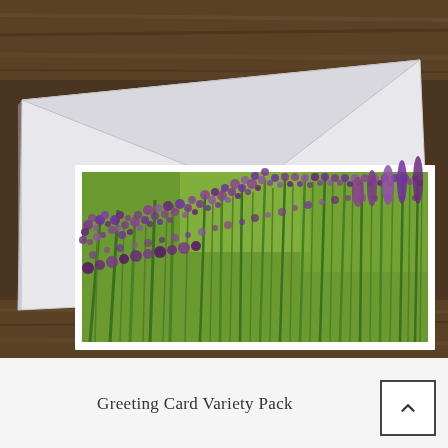[Figure (photo): A greeting card featuring a photograph of lavender flowers in a green field, partially inserted into a white envelope. The envelope and card are placed on a rustic wooden surface. The card shows purple lavender blooms with green stems against a bright green background.]
Greeting Card Variety Pack